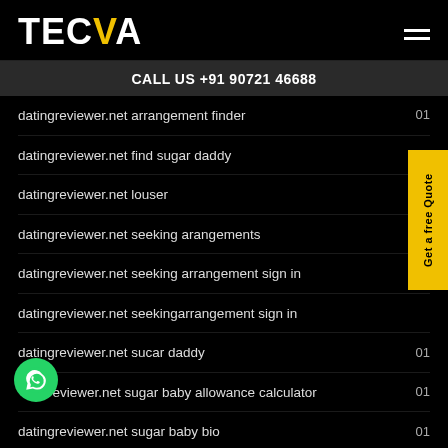TECVA
CALL US +91 90721 46688
datingreviewer.net arrangement finder 01
datingreviewer.net find sugar daddy 01
datingreviewer.net louser
datingreviewer.net seeking arangements
datingreviewer.net seeking arrangement sign in
datingreviewer.net seekingarrangement sign in
datingreviewer.net sucar daddy 01
datingreviewer.net sugar baby allowance calculator 01
datingreviewer.net sugar baby bio 01